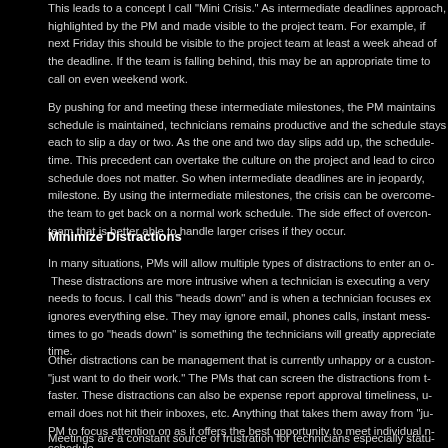This leads to a concept I call "Mini Crisis."  As intermediate deadlines approach, should be highlighted by the PM and made visible to the project team.  For example, if a milestone is next Friday this should be visible to the project team at least a week ahead of the deadline.  If the team is falling behind, this may be an appropriate time to call on overtime or even weekend work.
By pushing for and meeting these intermediate milestones, the PM maintains schedule is maintained, technicians remains productive and the schedule stays intact allowing each to slip a day or two.  As the one and two day slips add up, the schedule slips over time.  This precedent can overtake the culture on the project and lead to circumstances that schedule does not matter.  So when intermediate deadlines are in jeopardy, mini crisis the milestone.  By using the intermediate milestones, the crisis can be overcome and allows the team to get back on a normal work schedule.  The side effect of overcoming a mini crisis is team that is better able to handle larger crises if they occur.
Minimize Distractions
In many situations, PMs will allow multiple types of distractions to enter an environment. These distractions are more intrusive when a technician is executing a very complex task and needs to focus.  I call this "heads down" and is when a technician focuses exclusively and ignores everything else.  They may ignore email, phones calls, instant messages, etc.  Allowing times to go "heads down" is something the technicians will greatly appreciate and respect over time.
Other distractions can be management that is currently unhappy or a customer that "just want to do their work."  The PMs that can screen the distractions from the team will deliver faster.  These distractions can also be expense report approval timeliness, un-needed distracting email does not hit their inboxes, etc.  Anything that takes them away from "just doing the work" PM to focus attention on as it offers the best opportunity to meet individual milestones and schedule.
Meetings are a constant source of frustration for technicians especially status meetings through meetings where all parties talk about their individual work which...